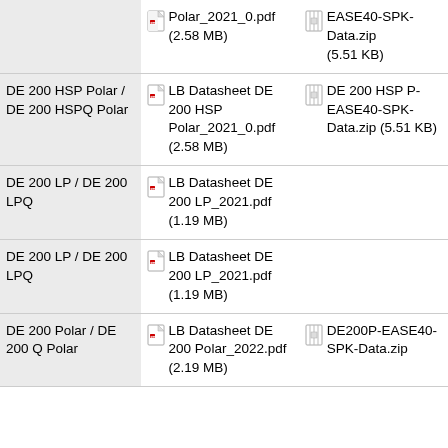| Product | PDF Datasheet | ZIP Data |
| --- | --- | --- |
|  | LB Datasheet DE 200 HSP Polar_2021_0.pdf (2.58 MB) | EASE40-SPK-Data.zip (5.51 KB) |
| DE 200 HSP Polar / DE 200 HSPQ Polar | LB Datasheet DE 200 HSP Polar_2021_0.pdf (2.58 MB) | DE 200 HSP P-EASE40-SPK-Data.zip (5.51 KB) |
| DE 200 LP / DE 200 LPQ | LB Datasheet DE 200 LP_2021.pdf (1.19 MB) |  |
| DE 200 LP / DE 200 LPQ | LB Datasheet DE 200 LP_2021.pdf (1.19 MB) |  |
| DE 200 Polar / DE 200 Q Polar | LB Datasheet DE 200 Polar_2022.pdf (2.19 MB) | DE200P-EASE40-SPK-Data.zip |